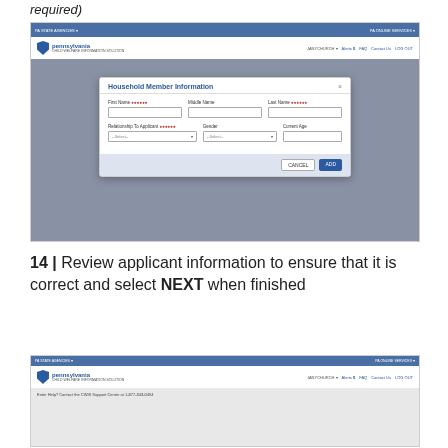required)
[Figure (screenshot): Pennsylvania CWIS website screenshot showing a 'Household Member Information' modal dialog with fields for First Name, Middle Name, Last Name, Relationship To Applicant, Gender, and Current Age, with CANCEL and ADD buttons]
14 | Review applicant information to ensure that it is correct and select NEXT when finished
[Figure (screenshot): Pennsylvania CWIS website screenshot showing the top navigation bar with the Pennsylvania logo and CWIS header]